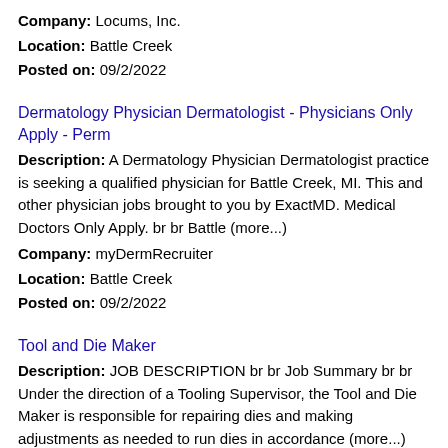Company: Locums, Inc.
Location: Battle Creek
Posted on: 09/2/2022
Dermatology Physician Dermatologist - Physicians Only Apply - Perm
Description: A Dermatology Physician Dermatologist practice is seeking a qualified physician for Battle Creek, MI. This and other physician jobs brought to you by ExactMD. Medical Doctors Only Apply. br br Battle (more...)
Company: myDermRecruiter
Location: Battle Creek
Posted on: 09/2/2022
Tool and Die Maker
Description: JOB DESCRIPTION br br Job Summary br br Under the direction of a Tooling Supervisor, the Tool and Die Maker is responsible for repairing dies and making adjustments as needed to run dies in accordance (more...)
Company: Adient
Location: Battle Creek
Posted on: 09/2/2022
Salary in Elkhart, Indiana Area | More details for Elkhart,